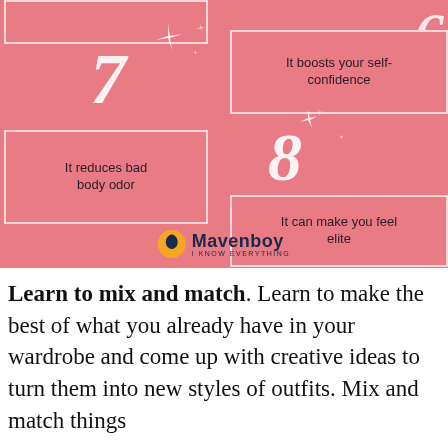[Figure (infographic): Pink infographic with numbered items 7 and 8. Item 7: 'It reduces bad body odor'. Item 8: 'It boosts your self-confidence' and 'It can make you feel elite'. Mavenboy logo at bottom.]
Learn to mix and match. Learn to make the best of what you already have in your wardrobe and come up with creative ideas to turn them into new styles of outfits. Mix and match things